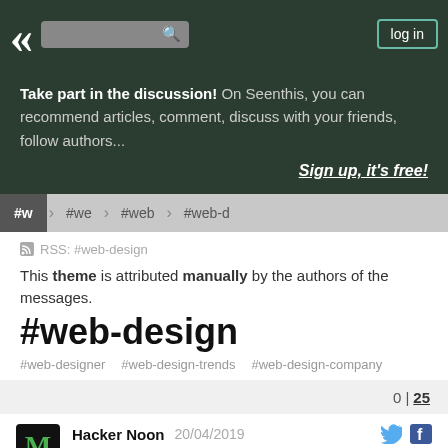« [search] log in
Take part in the discussion! On Seenthis, you can recommend articles, comment, discuss with your friends, follow authors... Sign up, it's free!
#w #we #web #web-d
RSS: #web-design
This theme is attributed manually by the authors of the messages.
#web-design
#web-designer  #web-design-trends  #web-design-company
0 | 25
Hacker Noon  20/04/2019
Developer's Pack: The #one Subscription
hackernoon.com/developers-pack-the-one-sub… [↗]